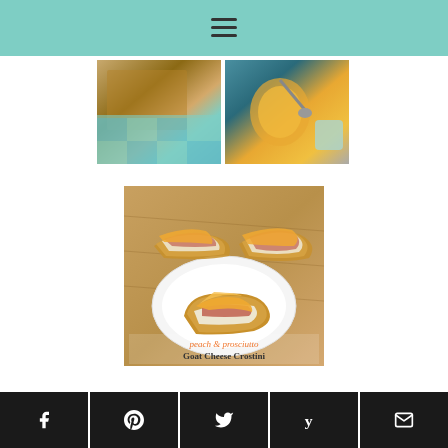Navigation header with hamburger menu
[Figure (photo): Food photo showing granola or crumble on a blue checkered cloth/surface]
[Figure (photo): Food photo showing a jar of honey or sauce with a spoon on a blue background]
[Figure (photo): Peach and prosciutto goat cheese crostini - multiple pieces on a wooden board and white plate, with text overlay reading 'peach & prosciutto Goat Cheese Crostini']
Social sharing buttons: Facebook, Pinterest, Twitter, Yummly, Email